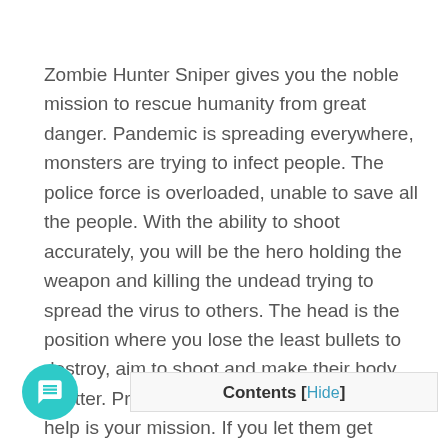Zombie Hunter Sniper gives you the noble mission to rescue humanity from great danger. Pandemic is spreading everywhere, monsters are trying to infect people. The police force is overloaded, unable to save all the people. With the ability to shoot accurately, you will be the hero holding the weapon and killing the undead trying to spread the virus to others. The head is the position where you lose the least bullets to destroy, aim to shoot and make their body shatter. Protecting the people calling for help is your mission. If you let them get harmed by a monster, the quest in Zombie Hunter Sniper is considered incomplete.
Contents [Hide]